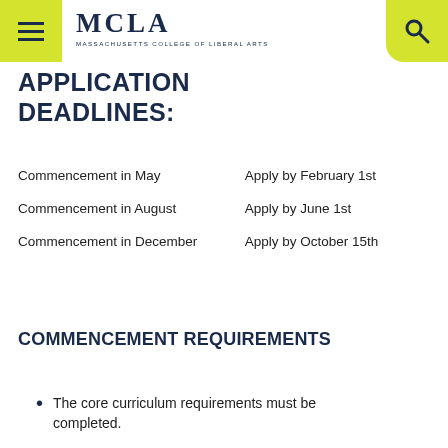MCLA — Massachusetts College of Liberal Arts
APPLICATION DEADLINES:
| Commencement | Deadline |
| --- | --- |
| Commencement in May | Apply by February 1st |
| Commencement in August | Apply by June 1st |
| Commencement in December | Apply by October 15th |
COMMENCEMENT REQUIREMENTS
The core curriculum requirements must be completed.